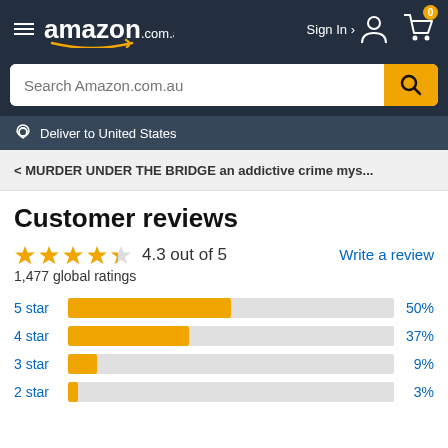[Figure (screenshot): Amazon.com.au header with hamburger menu, Amazon logo, Sign In, and cart with 0 items]
[Figure (screenshot): Search bar with placeholder 'Search Amazon.com.au' and orange search button]
Deliver to United States
< MURDER UNDER THE BRIDGE an addictive crime mys...
Customer reviews
4.3 out of 5
Write a review
1,477 global ratings
[Figure (bar-chart): Star rating distribution]